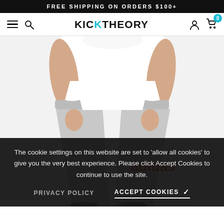FREE SHIPPING ON ORDERS $100+
[Figure (screenshot): KickTheory website navigation bar with hamburger menu, search icon, KICKTHEORY logo, user icon, and cart icon with badge showing 0]
[Figure (photo): Person wearing grey Adidas jogger pants with red Adidas logo text and white t-shirt, lower torso and legs visible]
The cookie settings on this website are set to 'allow all cookies' to give you the very best experience. Please click Accept Cookies to continue to use the site.
PRIVACY POLICY   ACCEPT COOKIES ✓